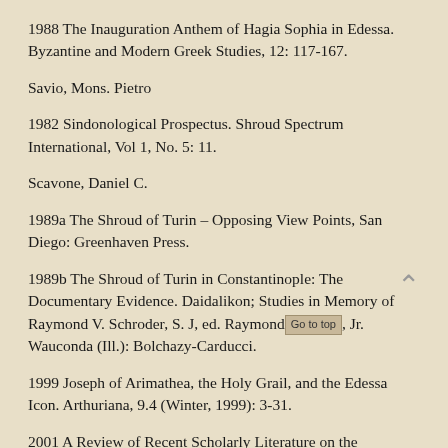1988 The Inauguration Anthem of Hagia Sophia in Edessa. Byzantine and Modern Greek Studies, 12: 117-167.
Savio, Mons. Pietro
1982 Sindonological Prospectus. Shroud Spectrum International, Vol 1, No. 5: 11.
Scavone, Daniel C.
1989a The Shroud of Turin – Opposing View Points, San Diego: Greenhaven Press.
1989b The Shroud of Turin in Constantinople: The Documentary Evidence. Daidalikon; Studies in Memory of Raymond V. Schroder, S. J, ed. Raymond H. Sutton, Jr. Wauconda (Ill.): Bolchazy-Carducci.
1999 Joseph of Arimathea, the Holy Grail, and the Edessa Icon. Arthuriana, 9.4 (Winter, 1999): 3-31.
2001 A Review of Recent Scholarly Literature on the